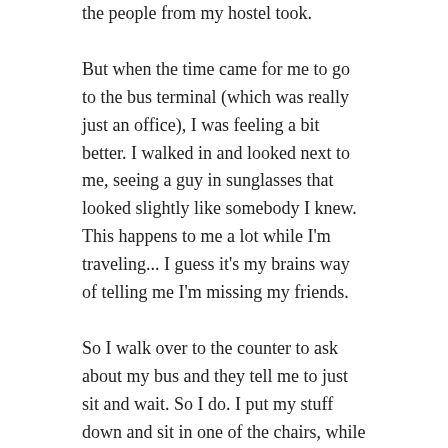the people from my hostel took.
But when the time came for me to go to the bus terminal (which was really just an office), I was feeling a bit better. I walked in and looked next to me, seeing a guy in sunglasses that looked slightly like somebody I knew. This happens to me a lot while I'm traveling... I guess it's my brains way of telling me I'm missing my friends.
So I walk over to the counter to ask about my bus and they tell me to just sit and wait. So I do. I put my stuff down and sit in one of the chairs, while sneaking peeks at the guy sitting there. He looks so much like him...
I open my Facebook app, to just look him up and see if maybe he could be in the area. He's currently living in Vietnam, so it's not that much of a stretch... But it still is.
And what do you know, he put on Facebook that he was going to